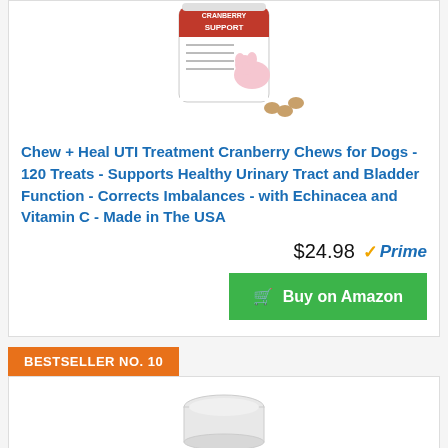[Figure (photo): Product image of Chew + Heal UTI Treatment Cranberry Chews for Dogs supplement container with soft chews visible]
Chew + Heal UTI Treatment Cranberry Chews for Dogs - 120 Treats - Supports Healthy Urinary Tract and Bladder Function - Corrects Imbalances - with Echinacea and Vitamin C - Made in The USA
$24.98 Prime
Buy on Amazon
BESTSELLER NO. 10
[Figure (photo): Product image partially visible at bottom of page showing a white supplement container lid]